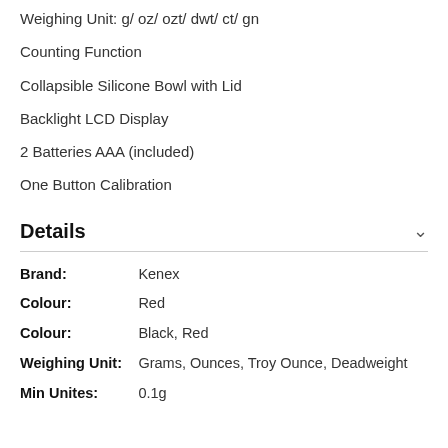Weighing Unit: g/ oz/ ozt/ dwt/ ct/ gn
Counting Function
Collapsible Silicone Bowl with Lid
Backlight LCD Display
2 Batteries AAA (included)
One Button Calibration
Details
| Brand: | Kenex |
| Colour: | Red |
| Colour: | Black, Red |
| Weighing Unit: | Grams, Ounces, Troy Ounce, Deadweight |
| Min Unites: | 0.1g |